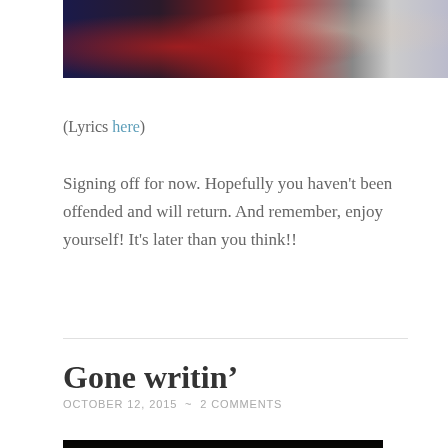[Figure (photo): Partial view of a photo showing people with red and dark background elements, cropped at top]
(Lyrics here)
Signing off for now. Hopefully you haven't been offended and will return. And remember, enjoy yourself! It's later than you think!!
Gone writin’
OCTOBER 12, 2015  ~  2 COMMENTS
[Figure (photo): Dark photo cropped at bottom of page, showing a dimly lit scene with a warm light source]